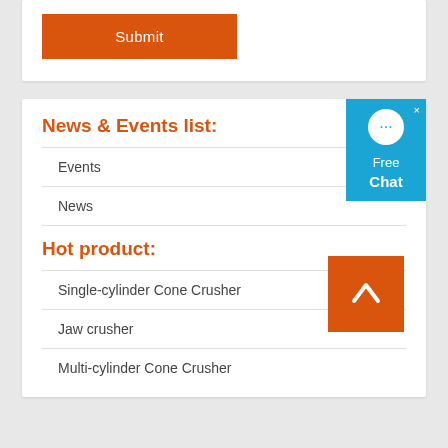[Figure (other): Orange Submit button]
News & Events list:
[Figure (other): Free Chat widget — blue chat bubble icon with 'Free Chat' text]
Events
News
Hot product:
Single-cylinder Cone Crusher
[Figure (other): Orange back-to-top arrow button]
Jaw crusher
Multi-cylinder Cone Crusher